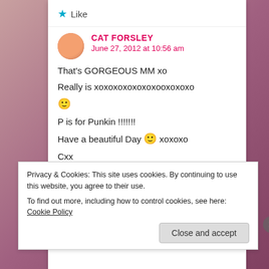★ Like
CAT FORSLEY
June 27, 2012 at 10:56 am
That's GORGEOUS MM xo
Really is xoxoxoxoxoxoxooxoxoxo
🙂
P is for Punkin !!!!!!!
Have a beautiful Day 🙂 xoxoxo
Cxx
Privacy & Cookies: This site uses cookies. By continuing to use this website, you agree to their use.
To find out more, including how to control cookies, see here: Cookie Policy
Close and accept